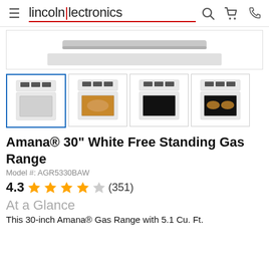lincoln|lectronics
[Figure (photo): Main product image area showing partial view of a white gas range, cropped at top]
[Figure (photo): Four product thumbnail images of Amana 30 inch white free standing gas range from different angles]
Amana® 30" White Free Standing Gas Range
Model #: AGR5330BAW
4.3 ★★★★☆ (351)
At a Glance
This 30-inch Amana® Gas Range with 5.1 Cu. Ft.